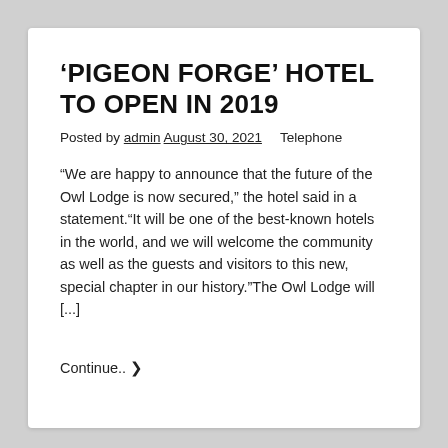'PIGEON FORGE' HOTEL TO OPEN IN 2019
Posted by admin August 30, 2021    Telephone
"We are happy to announce that the future of the Owl Lodge is now secured," the hotel said in a statement."It will be one of the best-known hotels in the world, and we will welcome the community as well as the guests and visitors to this new, special chapter in our history."The Owl Lodge will [...]
Continue.. ❯